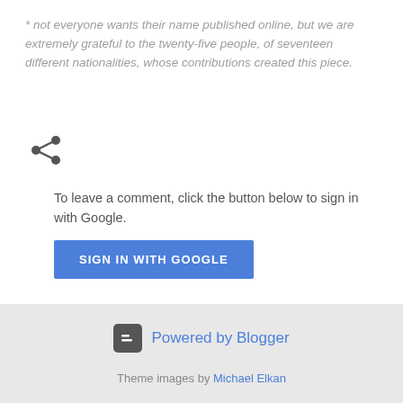* not everyone wants their name published online, but we are extremely grateful to the twenty-five people, of seventeen different nationalities, whose contributions created this piece.
[Figure (other): Share icon (less-than symbol style social share icon)]
To leave a comment, click the button below to sign in with Google.
SIGN IN WITH GOOGLE
Powered by Blogger
Theme images by Michael Elkan